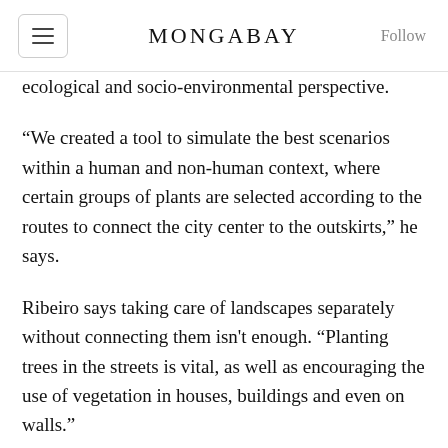MONGABAY
ecological and socio-environmental perspective.
“We created a tool to simulate the best scenarios within a human and non-human context, where certain groups of plants are selected according to the routes to connect the city center to the outskirts,” he says.
Ribeiro says taking care of landscapes separately without connecting them isn't enough. “Planting trees in the streets is vital, as well as encouraging the use of vegetation in houses, buildings and even on walls.”